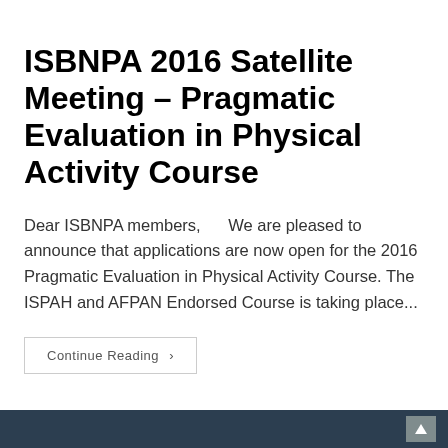ISBNPA 2016 Satellite Meeting – Pragmatic Evaluation in Physical Activity Course
Dear ISBNPA members,      We are pleased to announce that applications are now open for the 2016 Pragmatic Evaluation in Physical Activity Course. The ISPAH and AFPAN Endorsed Course is taking place...
Continue Reading ›